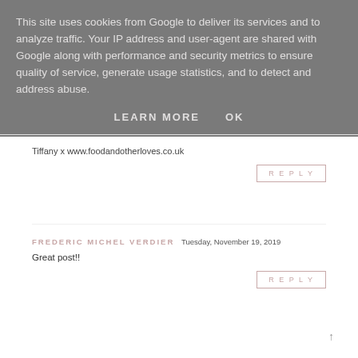This site uses cookies from Google to deliver its services and to analyze traffic. Your IP address and user-agent are shared with Google along with performance and security metrics to ensure quality of service, generate usage statistics, and to detect and address abuse.
LEARN MORE   OK
Tiffany x www.foodandotherloves.co.uk
REPLY
FREDERIC MICHEL VERDIER  Tuesday, November 19, 2019
Great post!!
REPLY